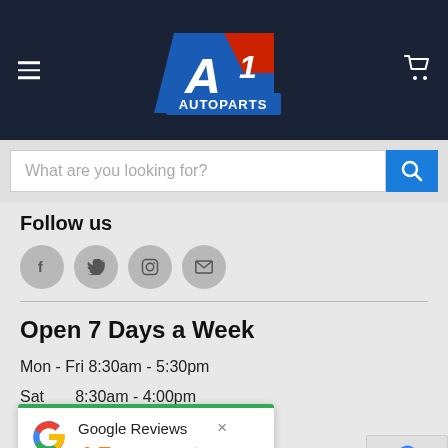[Figure (logo): A1 Autoparts logo with blue and red design on dark navy header background, with hamburger menu on left and shopping cart icon on right]
[Figure (screenshot): Search bar with placeholder text 'What are you looking for?' and blue search button with magnifying glass icon]
Follow us
[Figure (infographic): Four social media icon circles: Facebook (f), Twitter (bird), Instagram (camera), Email (envelope)]
Open 7 Days a Week
Mon - Fri 8:30am - 5:30pm
Sat        8:30am - 4:00pm
[Figure (screenshot): Google Reviews popup showing 4.7 rating with 4.5 orange stars and 103 reviews, with green top border and Google G logo]